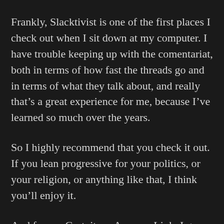Frankly, Slacktivist is one of the first places I check out when I sit down at my computer. I have trouble keeping up with the comentariat, both in terms of how fast the threads go and in terms of what they talk about, and really that’s a great experience for me, because I’ve learned so much over the years.
So I highly recommend that you check it out. If you lean progressive for your politics, or your religion, or anything like that, I think you’ll enjoy it.
And for my Gratuitous Amazon Link, I guess my comic book reading project is appropriate